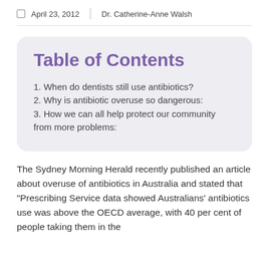April 23, 2012 | Dr. Catherine-Anne Walsh
Table of Contents
1. When do dentists still use antibiotics?
2. Why is antibiotic overuse so dangerous:
3. How we can all help protect our community from more problems:
The Sydney Morning Herald recently published an article about overuse of antibiotics in Australia and stated that “Prescribing Service data showed Australians’ antibiotics use was above the OECD average, with 40 per cent of people taking them in the